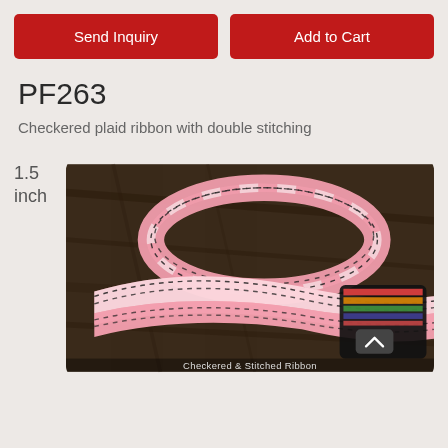Send Inquiry
Add to Cart
PF263
Checkered plaid ribbon with double stitching
1.5
inch
[Figure (photo): Pink and white checkered plaid ribbon with black double stitching, arranged in loops on a dark wooden background. A small thumbnail in the corner shows a color swatch card for 'Checkered & Stitched Ribbon'.]
Checkered & Stitched Ribbon